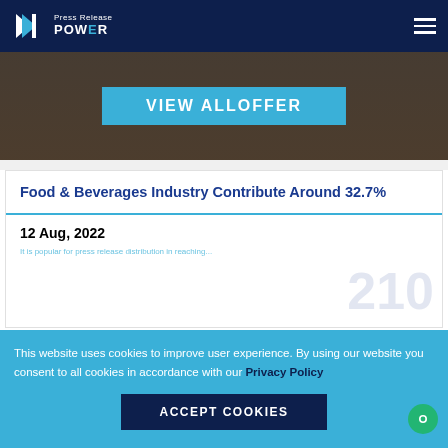Press Release POWER
[Figure (screenshot): Hero banner image with dark background and a light blue 'VIEW ALLOFFER' button in the center]
Food & Beverages Industry Contribute Around 32.7%
12 Aug, 2022
This website uses cookies to improve user experience. By using our website you consent to all cookies in accordance with our Privacy Policy
ACCEPT COOKIES